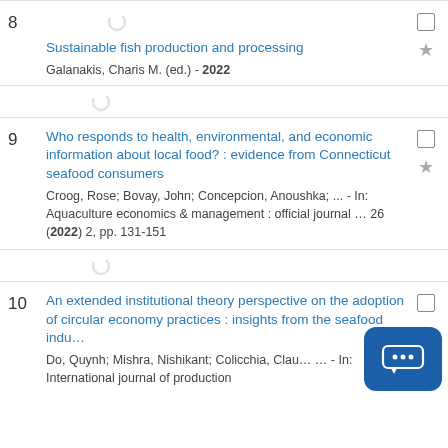8 Sustainable fish production and processing
Galanakis, Charis M. (ed.) - 2022
9 Who responds to health, environmental, and economic information about local food? : evidence from Connecticut seafood consumers
Croog, Rose; Bovay, John; Concepcion, Anoushka; ... - In: Aquaculture economics & management : official journal … 26 (2022) 2, pp. 131-151
10 An extended institutional theory perspective on the adoption of circular economy practices : insights from the seafood indu…
Do, Quynh; Mishra, Nishikant; Colicchia, Clau… … - In: International journal of production